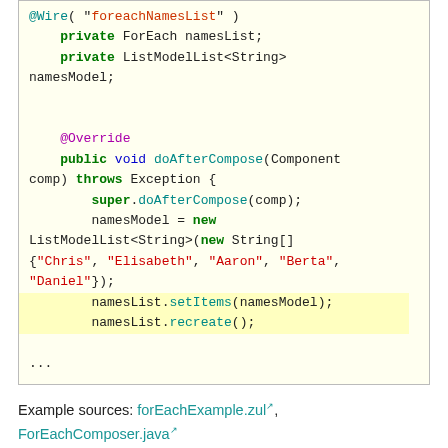[Figure (screenshot): Java code snippet showing a class with private ForEach namesList and ListModelList<String> namesModel fields, an @Override doAfterCompose method that initializes namesModel with a new ListModelList containing string names Chris, Elisabeth, Aaron, Berta, Daniel, then calls namesList.setItems(namesModel) and namesList.recreate() highlighted in yellow.]
Example sources: forEachExample.zul, ForEachComposer.java